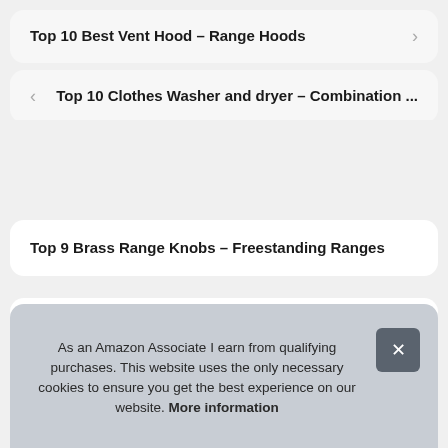Top 10 Best Vent Hood – Range Hoods
Top 10 Clothes Washer and dryer – Combination ...
Top 9 Brass Range Knobs – Freestanding Ranges
Top 10 Flat Extension Cord Thin – Kitchen & Dining Features
As an Amazon Associate I earn from qualifying purchases. This website uses the only necessary cookies to ensure you get the best experience on our website. More information